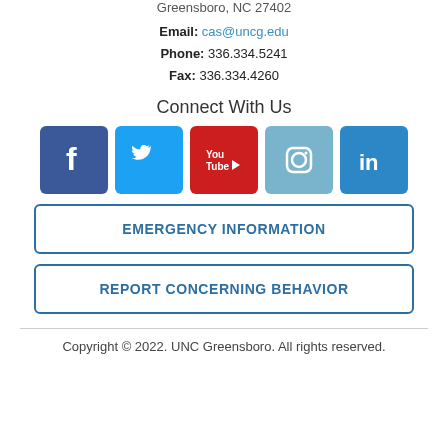Greensboro, NC 27402
Email: cas@uncg.edu
Phone: 336.334.5241
Fax: 336.334.4260
Connect With Us
[Figure (infographic): Five social media icon buttons: Facebook (dark blue), Twitter (light blue), YouTube (red), Instagram (grayish blue), LinkedIn (blue)]
EMERGENCY INFORMATION
REPORT CONCERNING BEHAVIOR
Copyright © 2022. UNC Greensboro. All rights reserved.